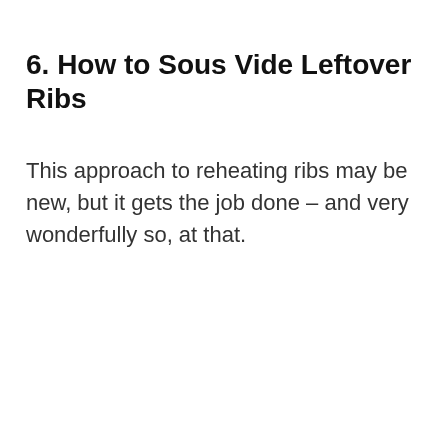6. How to Sous Vide Leftover Ribs
This approach to reheating ribs may be new, but it gets the job done – and very wonderfully so, at that.